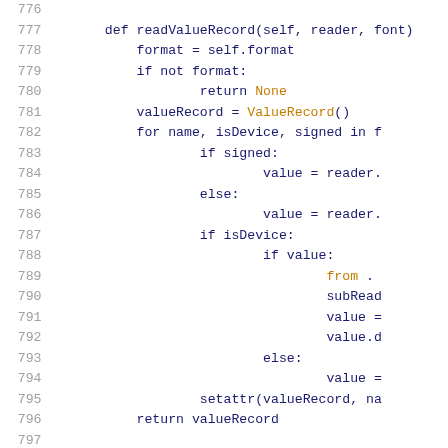Code listing lines 776-797: Python method readValueRecord showing format checking, ValueRecord creation, loop over fields, signed/unsigned reading, device value handling, and return statement.